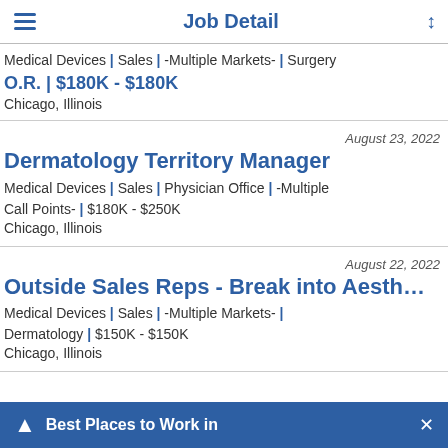Job Detail
Medical Devices | Sales | -Multiple Markets- | Surgery O.R. | $180K - $180K
Chicago, Illinois
August 23, 2022
Dermatology Territory Manager
Medical Devices | Sales | Physician Office | -Multiple Call Points- | $180K - $250K
Chicago, Illinois
August 22, 2022
Outside Sales Reps - Break into Aesth…
Medical Devices | Sales | -Multiple Markets- | Dermatology | $150K - $150K
Chicago, Illinois
Best Places to Work in